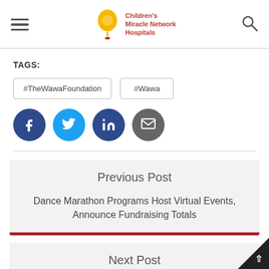Children's Miracle Network Hospitals
TAGS:
#TheWawaFoundation
#Wawa
[Figure (infographic): Social share buttons: Facebook (dark blue circle with f), Twitter (light blue circle with bird), LinkedIn (dark blue circle with in), Email (grey circle with envelope icon)]
Previous Post
Dance Marathon Programs Host Virtual Events, Announce Fundraising Totals
Next Post